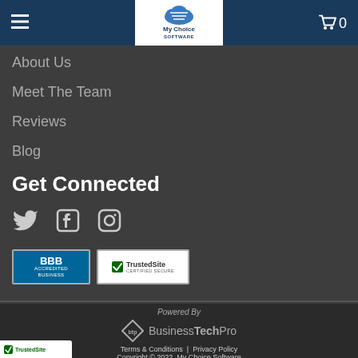My Choice Software — hamburger menu and cart (0)
About Us
Meet The Team
Reviews
Blog
Get Connected
[Figure (infographic): Social media icons: Twitter bird, Facebook F, Instagram camera outline]
[Figure (logo): BBB Accredited Business badge (blue) and TrustedSite Certified Secure badge (white with green checkmark)]
[Figure (logo): Powered By BusinessTechPro logo with diamond BTP icon]
Terms & Conditions | Privacy Policy
Copyright © 2022, My Choice Software
[Figure (logo): TrustedSite partial badge at bottom-left corner]